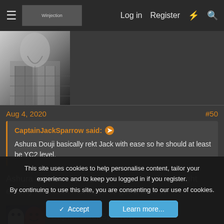≡  [forum logo]   Log in   Register   ⚡   🔍
[Figure (photo): Black and white photo of a person in a plaid jacket with a necklace]
Aug 4, 2020    #50
CaptainJackSparrow said: ➤
Ashura Douji basically rekt Jack with ease so he should at least be YC2 level.
Ashura took him by suprise, afterwards they fought equally and Jack managed to get a slice in
CaptainJackSparrow
This site uses cookies to help personalise content, tailor your experience and to keep you logged in if you register.
By continuing to use this site, you are consenting to our use of cookies.
[Accept]  [Learn more...]